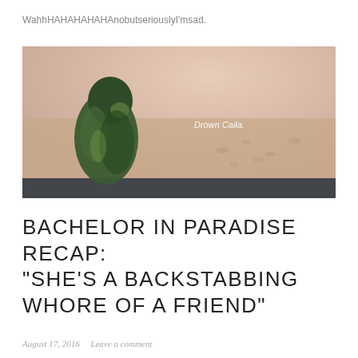WahhHAHAHAHAHAnobutseriouslyI'msad.
[Figure (photo): A green parrot perched on a railing with a blurred sandy beach background. Overlaid italic text reads: Drown Caila.]
BACHELOR IN PARADISE RECAP: “SHE’S A BACKSTABBING WHORE OF A FRIEND”
August 17, 2016   Leave a comment